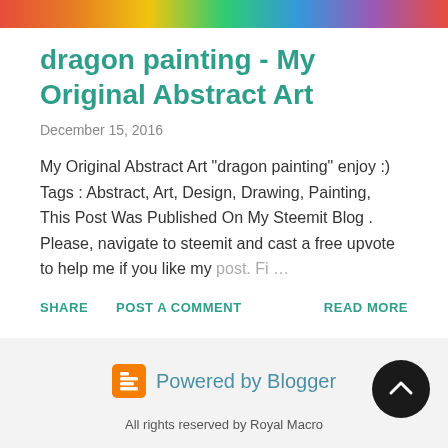[Figure (illustration): Colorful top banner strip with rainbow gradient colors]
dragon painting - My Original Abstract Art
December 15, 2016
My Original Abstract Art "dragon painting" enjoy :) Tags : Abstract, Art, Design, Drawing, Painting,  This Post Was Published On My Steemit Blog . Please, navigate to steemit and cast a free upvote to help me if you like my post. Fi…
SHARE   POST A COMMENT   READ MORE
[Figure (logo): Blogger logo - orange B icon followed by Powered by Blogger text in teal]
All rights reserved by Royal Macro